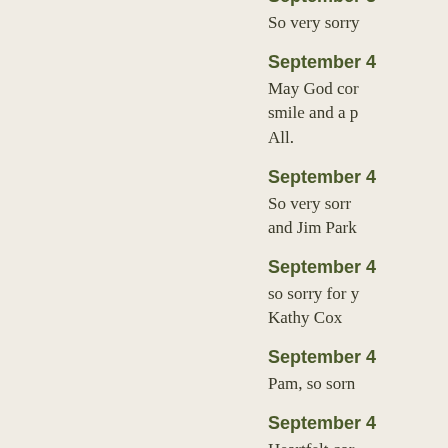September 3
So very sorry
September 4
May God con... smile and a p... All.
September 4
So very sorry and Jim Park
September 4
so sorry for y... Kathy Cox
September 4
Pam, so sorr
September 4
Heartfelt con... visiting with h